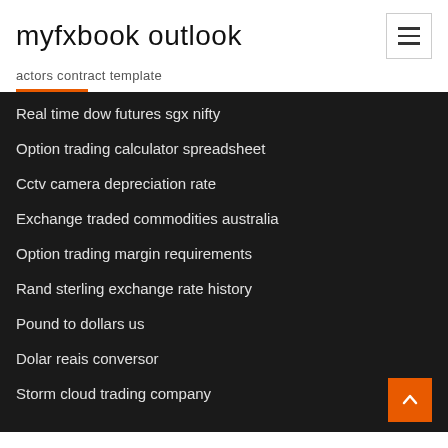myfxbook outlook
actors contract template
Real time dow futures sgx nifty
Option trading calculator spreadsheet
Cctv camera depreciation rate
Exchange traded commodities australia
Option trading margin requirements
Rand sterling exchange rate history
Pound to dollars us
Dolar reais conversor
Storm cloud trading company